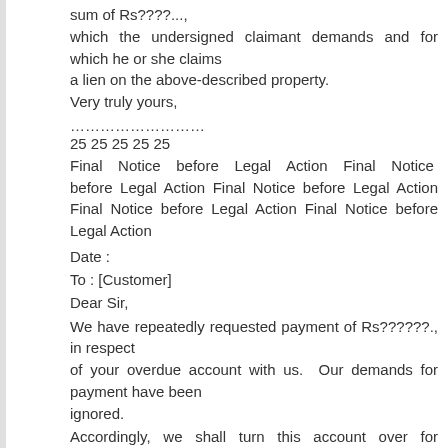sum of Rs????...,
which the undersigned claimant demands and for which he or she claims
a lien on the above-described property.
Very truly yours,
………………………
25 25 25 25 25
Final Notice before Legal Action Final Notice before Legal Action Final Notice before Legal Action Final Notice before Legal Action Final Notice before Legal Action
Date :
To : [Customer]
Dear Sir,
We have repeatedly requested payment of Rs??????., in respect
of your overdue account with us.  Our demands for payment have been
ignored.
Accordingly, we shall turn this account over for collection within the next
ten days unless payment, or an acceptable proposal for payment, is made.
Enforced collection on this obligation will result in